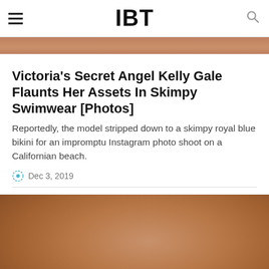IBT
[Figure (photo): Top strip of a photo showing warm skin tones, partially cropped at top of page]
Victoria's Secret Angel Kelly Gale Flaunts Her Assets In Skimpy Swimwear [Photos]
Reportedly, the model stripped down to a skimpy royal blue bikini for an impromptu Instagram photo shoot on a Californian beach.
Dec 3, 2019
[Figure (photo): Close-up photo with warm brown/skin tone colors, lower body area, blurred/abstract]